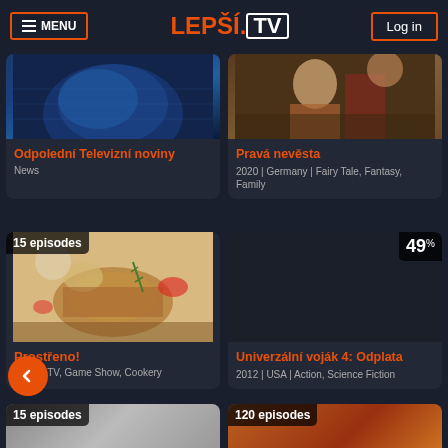MENU | LEPŠÍ.TV | Log in
[Figure (screenshot): Blue globe/space image for Odpolední Televizní noviny card]
Odpolední Televizní noviny
News
[Figure (photo): Person with basket in outdoor scene for Pravá nevěsta card]
Pravá nevěsta
2020 | Germany | Fairy Tale, Fantasy, Family
[Figure (photo): Food dish - meat with sauce and garnish, badge: 15 episodes]
Prostřeno!
Reality TV, Game Show, Cookery
[Figure (screenshot): Dark image placeholder with 49% badge for Univerzální voják 4: Odplata]
Univerzální voják 4: Odplata
2012 | USA | Action, Science Fiction
[Figure (screenshot): Bottom left card thumbnail with 15 episodes badge]
[Figure (screenshot): Bottom right card thumbnail with 120 episodes badge]